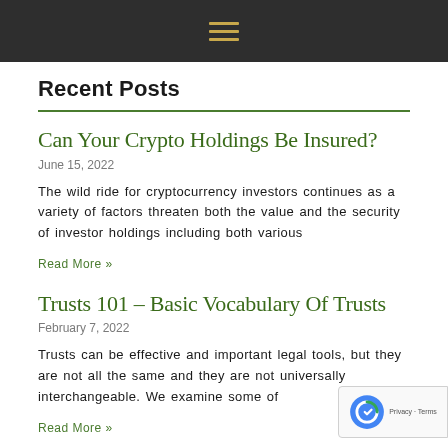≡
Recent Posts
Can Your Crypto Holdings Be Insured?
June 15, 2022
The wild ride for cryptocurrency investors continues as a variety of factors threaten both the value and the security of investor holdings including both various
Read More »
Trusts 101 – Basic Vocabulary Of Trusts
February 7, 2022
Trusts can be effective and important legal tools, but they are not all the same and they are not universally interchangeable. We examine some of
Read More »